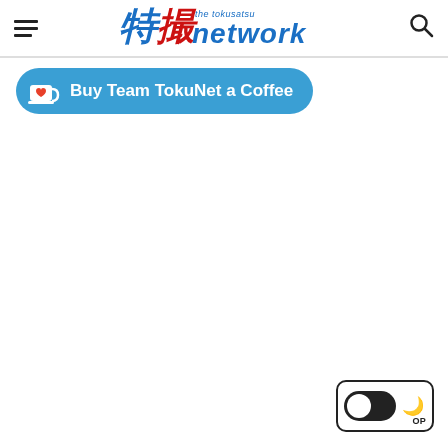The Tokusatsu Network
Buy Team TokuNet a Coffee
[Figure (screenshot): Dark mode toggle button with toggle track and moon icon in bottom right corner]